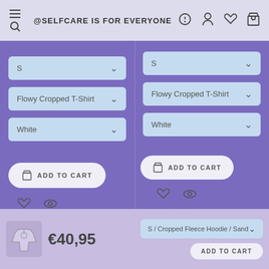@SELFCARE IS FOR EVERYONE
[Figure (screenshot): E-commerce product page UI showing two product columns each with size, style, and color dropdowns, add to cart buttons, wishlist and view icons, and star ratings. Bottom bar shows a hoodie product at €40,95 with a third product dropdown and add to cart button.]